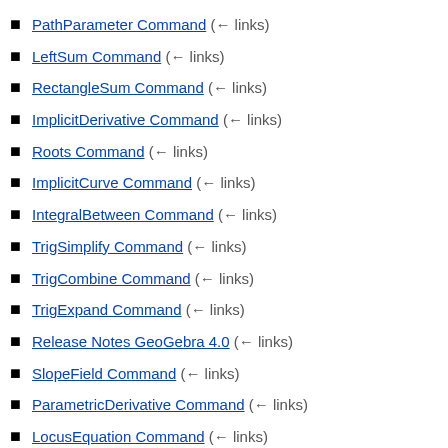PathParameter Command (← links)
LeftSum Command (← links)
RectangleSum Command (← links)
ImplicitDerivative Command (← links)
Roots Command (← links)
ImplicitCurve Command (← links)
IntegralBetween Command (← links)
TrigSimplify Command (← links)
TrigCombine Command (← links)
TrigExpand Command (← links)
Release Notes GeoGebra 4.0 (← links)
SlopeField Command (← links)
ParametricDerivative Command (← links)
LocusEquation Command (← links)
NSolveODE Command (← links)
SolveQuartic Command (← links)
SolveCubic Command (← links)